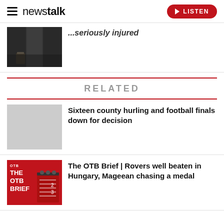newstalk LISTEN
[Figure (photo): Dark cobblestone alleyway with barrel, partially visible at top]
...seriously injured
RELATED
[Figure (photo): Light grey placeholder image for article thumbnail]
Sixteen county hurling and football finals down for decision
[Figure (illustration): The OTB Brief red branded image with notebook graphic]
The OTB Brief | Rovers well beaten in Hungary, Mageean chasing a medal